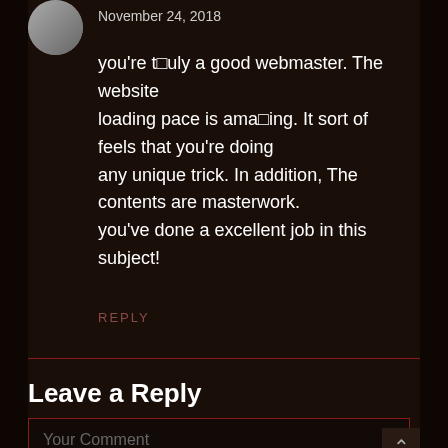November 24, 2018
you're t□uly a good webmaster. The website loading pace is ama□ing. It sort of feels that you're doing any unique trick. In addition, The contents are masterwork. you've done a excellent job in this subject!
REPLY
Leave a Reply
Your Comment